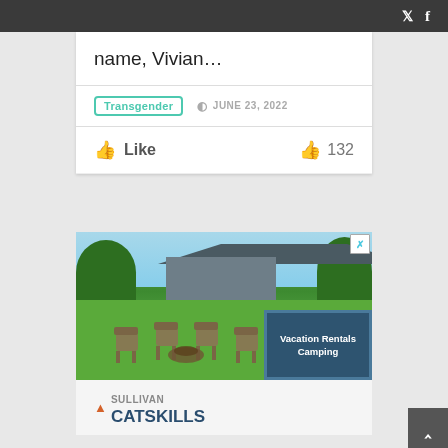Navigation bar with Twitter and Facebook icons
name, Vivian…
Transgender  ⏱ JUNE 23, 2022
👍 Like   👍 132
[Figure (photo): Vacation rental property photo showing a house with chairs around a fire pit on a green lawn, with overlay text 'Vacation Rentals Camping' and Sullivan Catskills logo at the bottom.]